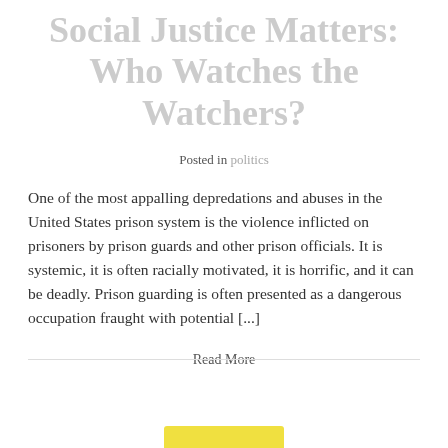Social Justice Matters: Who Watches the Watchers?
Posted in politics
One of the most appalling depredations and abuses in the United States prison system is the violence inflicted on prisoners by prison guards and other prison officials. It is systemic, it is often racially motivated, it is horrific, and it can be deadly. Prison guarding is often presented as a dangerous occupation fraught with potential [...]
Read More